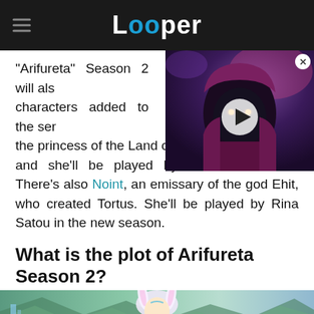Looper
[Figure (screenshot): Video player overlay showing a dark fantasy character with glowing orange eyes wearing a purple hood, with a play button in the center and a close button in the top right corner]
"Arifureta" Season 2 will also have new characters added to the series, including the princess of the Land of Heitigh and an artist, and she'll be played by Noriko Shibasaki. There's also Noint, an emissary of the god Ehit, who created Tortus. She'll be played by Rina Satou in the new season.
What is the plot of Arifureta Season 2?
[Figure (screenshot): Anime scene showing a white rabbit-eared character in a mountainous landscape with green scenery]